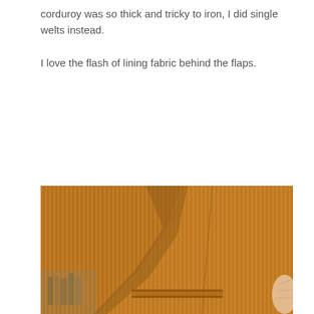corduroy was so thick and tricky to iron, I did single welts instead.

I love the flash of lining fabric behind the flaps.
[Figure (photo): Close-up photograph of a person wearing a golden/mustard orange corduroy jacket, showing the chest and pocket area with a welt pocket detail. A bookshelf is visible in the blurred background.]